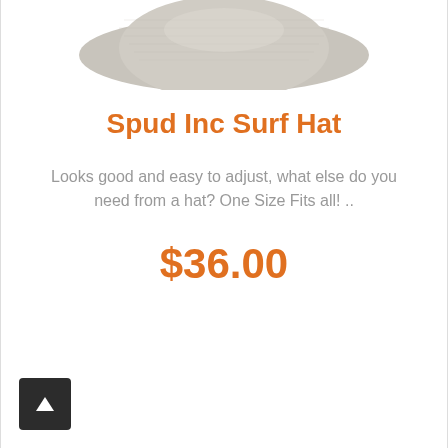[Figure (illustration): Partial view of a gray surf hat from above, cropped at top of page]
Spud Inc Surf Hat
Looks good and easy to adjust, what else do you need from a hat? One Size Fits all! ..
$36.00
[Figure (other): Back to top button — dark square with upward arrow]